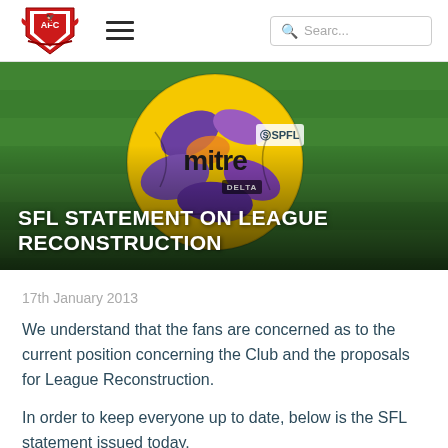[Figure (logo): AFC club crest logo in red and white with eagle motif]
[Figure (photo): SPFL Mitre Delta football (yellow/purple) on green grass pitch background]
SFL STATEMENT ON LEAGUE RECONSTRUCTION
17th January 2013
We understand that the fans are concerned as to the current position concerning the Club and the proposals for League Reconstruction.
In order to keep everyone up to date, below is the SFL statement issued today.